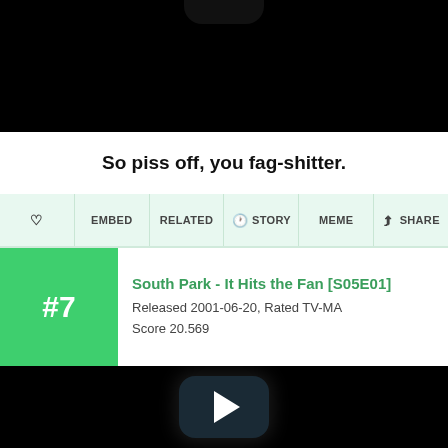[Figure (screenshot): Black top area with phone notch]
So piss off, you fag-shitter.
♡  EMBED  RELATED  🕐STORY  MEME  ↗SHARE
#7  South Park - It Hits the Fan [S05E01]
Released 2001-06-20, Rated TV-MA
Score 20.569
[Figure (screenshot): Black bottom area with YouTube-style play button]